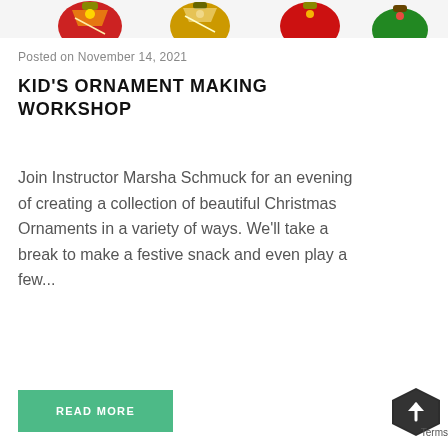[Figure (illustration): Partial top crop of colorful Christmas ornaments – red, gold, green decorative holiday ornaments row]
Posted on November 14, 2021
KID'S ORNAMENT MAKING WORKSHOP
Join Instructor Marsha Schmuck for an evening of creating a collection of beautiful Christmas Ornaments in a variety of ways. We'll take a break to make a festive snack and even play a few...
READ MORE